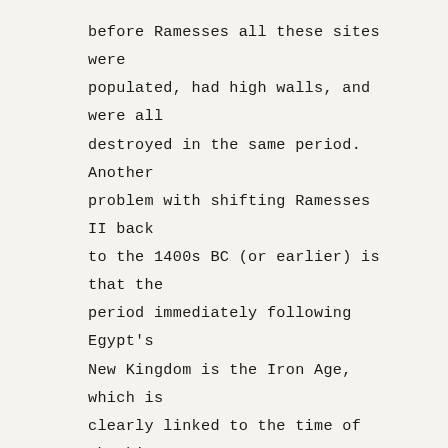before Ramesses all these sites were populated, had high walls, and were all destroyed in the same period. Another problem with shifting Ramesses II back to the 1400s BC (or earlier) is that the period immediately following Egypt's New Kingdom is the Iron Age, which is clearly linked to the time of the kings of Israel and Judah – but the Bible paints 480 years between the Exodus and Solomon. This entire period would need to be eliminated to make that theory work. Many Exodus theories run into problems by ignoring most of the six steps and zeroing in on just one or two. That is why the film took